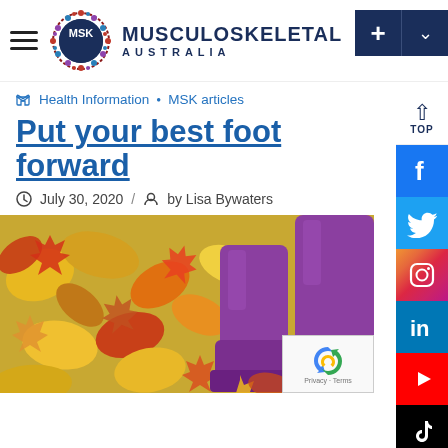MUSCULOSKELETAL AUSTRALIA
Health Information • MSK articles
Put your best foot forward
July 30, 2020 / by Lisa Bywaters
[Figure (photo): Purple rain boots standing on autumn leaves (yellow, orange, red maple leaves on ground)]